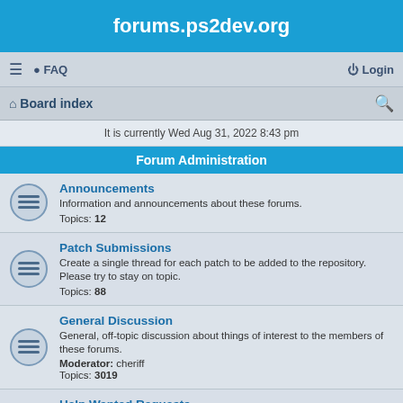forums.ps2dev.org
≡  FAQ    Login
Board index
It is currently Wed Aug 31, 2022 8:43 pm
Forum Administration
Announcements
Information and announcements about these forums.
Topics: 12
Patch Submissions
Create a single thread for each patch to be added to the repository. Please try to stay on topic.
Topics: 88
General Discussion
General, off-topic discussion about things of interest to the members of these forums.
Moderator: cheriff
Topics: 3019
Help Wanted Requests
A place to post legitimate, console-related project recruitment or commercial employment opportunities.
Topics: 99
The Incredible Hall Of Shame
The dumping ground for the sorriest of posts seen on these forums. I also...